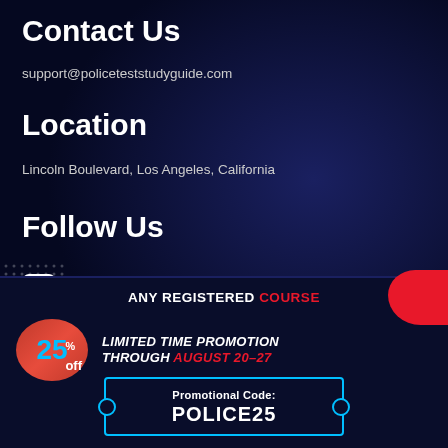Contact Us
support@policeteststudyguide.com
Location
Lincoln Boulevard, Los Angeles, California
Follow Us
Youtube
Instagram
Facebook
[Figure (infographic): Promotional banner: ANY REGISTERED COURSE, 25% off, LIMITED TIME PROMOTION THROUGH AUGUST 20-27, Promotional Code: POLICE25]